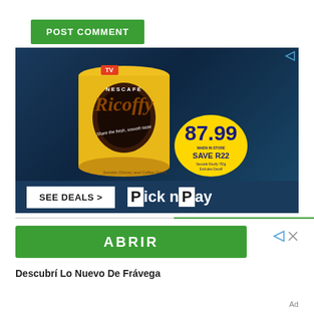POST COMMENT
[Figure (photo): Nescafe Ricoffy advertisement showing a yellow tin of Ricoffy coffee with a cup of coffee, price tag showing 87.99, SAVE R22, and Pick n Pay branding with SEE DEALS button]
[Figure (infographic): ABRIR button advertisement for Frávega with green button, ad indicator icons, and text: Descubrí Lo Nuevo De Frávega]
Ad